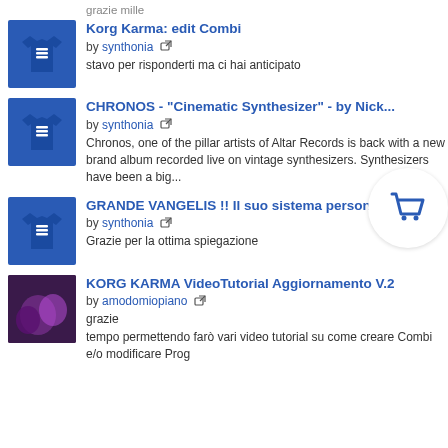grazie mille
Korg Karma: edit Combi — by synthonia — stavo per risponderti ma ci hai anticipato
CHRONOS - "Cinematic Synthesizer" - by Nick... — by synthonia — Chronos, one of the pillar artists of Altar Records is back with a new brand album recorded live on vintage synthesizers. Synthesizers have been a big...
GRANDE VANGELIS !! Il suo sistema personalizzato! — by synthonia — Grazie per la ottima spiegazione
KORG KARMA VideoTutorial Aggiornamento V.2 — by amodomiopiano — grazie
tempo permettendo farò vari video tutorial su come creare Combi e/o modificare Prog